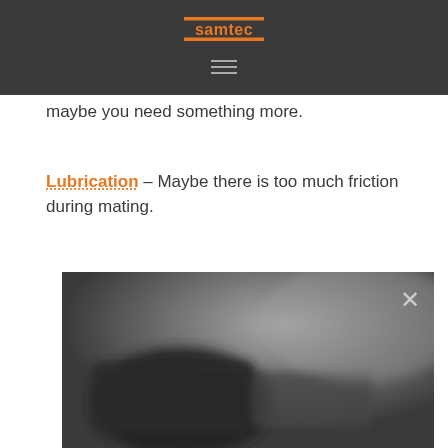Samtec
maybe you need something more.
Lubrication – Maybe there is too much friction during mating.
[Figure (photo): Blurred close-up grayscale photograph of electronic connectors mating, with an X (close) button overlay in the top-right corner.]